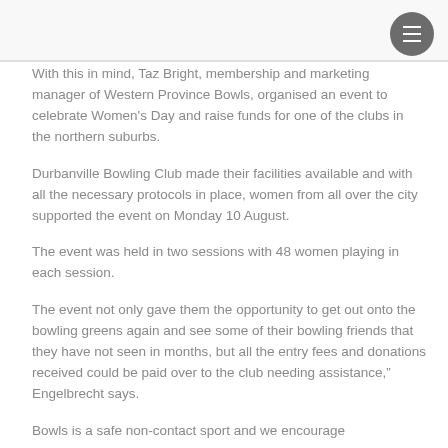With this in mind, Taz Bright, membership and marketing manager of Western Province Bowls, organised an event to celebrate Women's Day and raise funds for one of the clubs in the northern suburbs.
Durbanville Bowling Club made their facilities available and with all the necessary protocols in place, women from all over the city supported the event on Monday 10 August.
The event was held in two sessions with 48 women playing in each session.
The event not only gave them the opportunity to get out onto the bowling greens again and see some of their bowling friends that they have not seen in months, but all the entry fees and donations received could be paid over to the club needing assistance," Engelbrecht says.
Bowls is a safe non-contact sport and we encourage